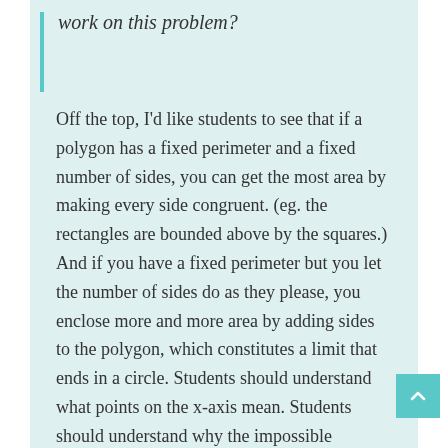work on this problem?
Off the top, I'd like students to see that if a polygon has a fixed perimeter and a fixed number of sides, you can get the most area by making every side congruent. (eg. the rectangles are bounded above by the squares.) And if you have a fixed perimeter but you let the number of sides do as they please, you enclose more and more area by adding sides to the polygon, which constitutes a limit that ends in a circle. Students should understand what points on the x-axis mean. Students should understand why the impossible